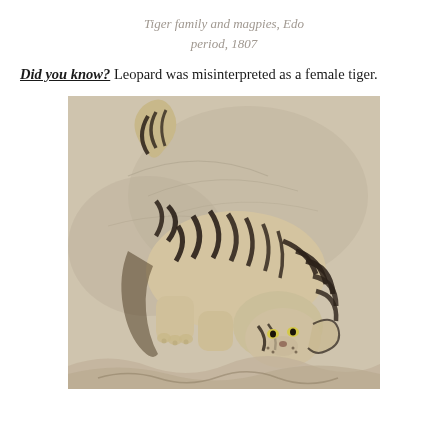Tiger family and magpies, Edo period, 1807
Did you know? Leopard was misinterpreted as a female tiger.
[Figure (illustration): Japanese Edo period painting (1807) of a tiger depicted in black ink brushwork on a pale beige/grey background, showing the animal crouching with bold black stripes and a fierce face looking downward, with stylized waves at bottom.]